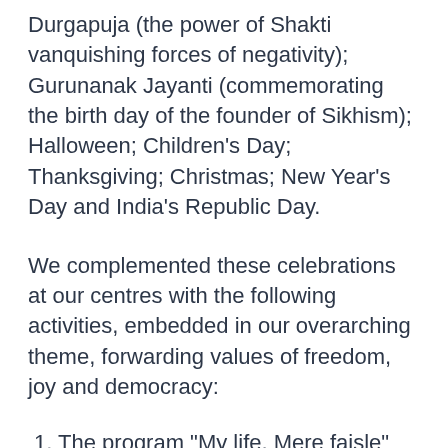Durgapuja (the power of Shakti vanquishing forces of negativity); Gurunanak Jayanti (commemorating the birth day of the founder of Sikhism); Halloween; Children's Day; Thanksgiving; Christmas; New Year's Day and India's Republic Day.
We complemented these celebrations at our centres with the following activities, embedded in our overarching theme, forwarding values of freedom, joy and democracy:
1. The program "My life, Mere faisle" (My Life, My...